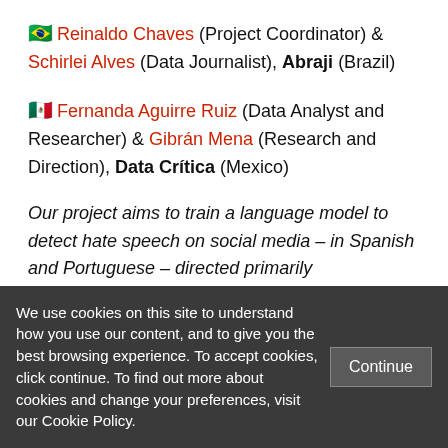🇧🇷 Reinaldo Chaves (Project Coordinator) & Schirlei Alves (Data Journalist), Abraji (Brazil)
🇲🇽 Fernanda Aguirre Ruiz (Data Analyst and Researcher) & Gibrán Mena (Research and Direction), Data Crítica (Mexico)
Our project aims to train a language model to detect hate speech on social media – in Spanish and Portuguese – directed primarily
We use cookies on this site to understand how you use our content, and to give you the best browsing experience. To accept cookies, click continue. To find out more about cookies and change your preferences, visit our Cookie Policy.